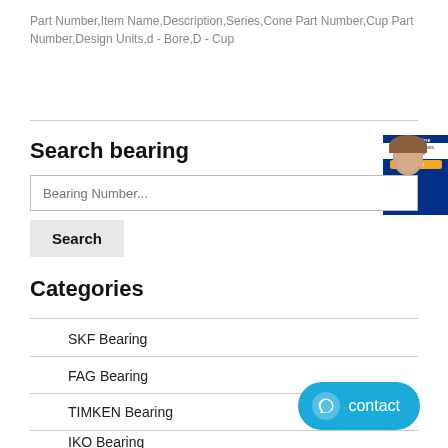Part Number,Item Name,Description,Series,Cone Part Number,Cup Part Number,Design Units,d - Bore,D - Cup
Search bearing
[Figure (screenshot): SKF Online chat/support promotional banner with a woman wearing a headset]
Bearing Number...
Search
Categories
SKF Bearing
FAG Bearing
TIMKEN Bearing
IKO Bearing
KOYO Bearing
[Figure (screenshot): Blue contact button with chat icon and text 'contact']